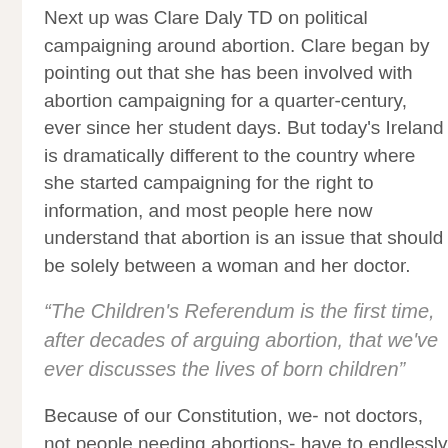Next up was Clare Daly TD on political campaigning around abortion. Clare began by pointing out that she has been involved with abortion campaigning for a quarter-century, ever since her student days. But today's Ireland is dramatically different to the country where she started campaigning for the right to information, and most people here now understand that abortion is an issue that should be solely between a woman and her doctor.
“The Children's Referendum is the first time, after decades of arguing abortion, that we've ever discusses the lives of born children”
Because of our Constitution, we- not doctors, not people needing abortions- have to endlessly discuss when and whether a woman’s life is really at risk. Evidence has tragically shown that, contrary to anti-abortion claims, there are instances where women need abortions to save their lives. But how can you prove that a risk to